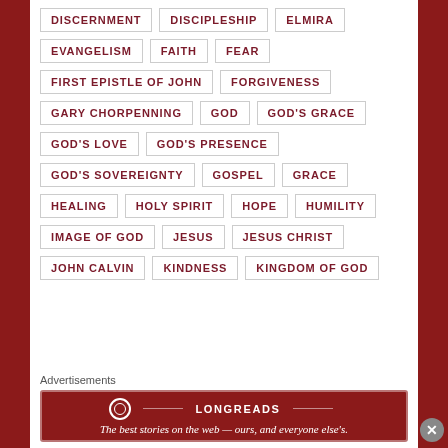DISCERNMENT
DISCIPLESHIP
ELMIRA
EVANGELISM
FAITH
FEAR
FIRST EPISTLE OF JOHN
FORGIVENESS
GARY CHORPENNING
GOD
GOD'S GRACE
GOD'S LOVE
GOD'S PRESENCE
GOD'S SOVEREIGNTY
GOSPEL
GRACE
HEALING
HOLY SPIRIT
HOPE
HUMILITY
IMAGE OF GOD
JESUS
JESUS CHRIST
JOHN CALVIN
KINDNESS
KINGDOM OF GOD
Advertisements
[Figure (infographic): Longreads advertisement banner: red background, Longreads logo and title, tagline 'The best stories on the web — ours, and everyone else's.']